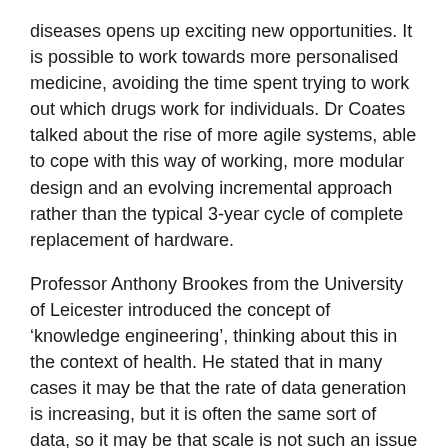diseases opens up exciting new opportunities. It is possible to work towards more personalised medicine, avoiding the time spent trying to work out which drugs work for individuals. Dr Coates talked about the rise of more agile systems, able to cope with this way of working, more modular design and an evolving incremental approach rather than the typical 3-year cycle of complete replacement of hardware.
Professor Anthony Brookes from the University of Leicester introduced the concept of ‘knowledge engineering’, thinking about this in the context of health. He stated that in many cases it may be that the rate of data generation is increasing, but it is often the same sort of data, so it may be that scale is not such an issue in all cases. This is an important point. It is easy to equate big data with scale, but it is not all about scale. The rise of Big Data is just as concerned with things like new tools that are making analysis of data more effective.
Prof Brookes described knowledge engineering as a discipline that involves integrating knowledge into computer systems in